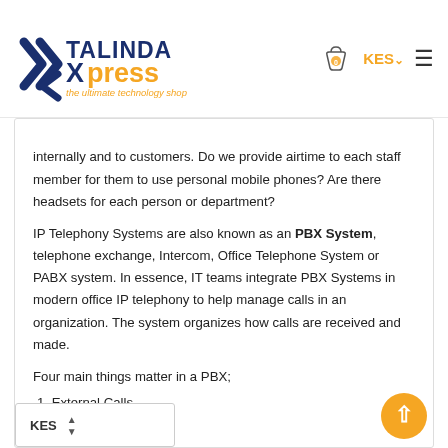[Figure (logo): Talinda Xpress logo - the ultimate technology shop]
internally and to customers. Do we provide airtime to each staff member for them to use personal mobile phones? Are there headsets for each person or department?
IP Telephony Systems are also known as an PBX System, telephone exchange, Intercom, Office Telephone System or PABX system. In essence, IT teams integrate PBX Systems in modern office IP telephony to help manage calls in an organization. The system organizes how calls are received and made.
Four main things matter in a PBX;
1. External Calls
2. Internal Calls